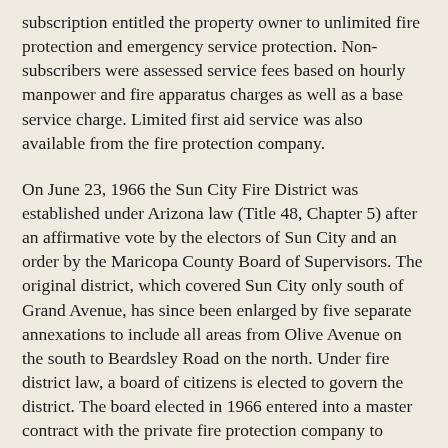subscription entitled the property owner to unlimited fire protection and emergency service protection. Non-subscribers were assessed service fees based on hourly manpower and fire apparatus charges as well as a base service charge. Limited first aid service was also available from the fire protection company.
On June 23, 1966 the Sun City Fire District was established under Arizona law (Title 48, Chapter 5) after an affirmative vote by the electors of Sun City and an order by the Maricopa County Board of Supervisors. The original district, which covered Sun City only south of Grand Avenue, has since been enlarged by five separate annexations to include all areas from Olive Avenue on the south to Beardsley Road on the north. Under fire district law, a board of citizens is elected to govern the district. The board elected in 1966 entered into a master contract with the private fire protection company to cover the entire community. This eliminated the fire subscription fee program.